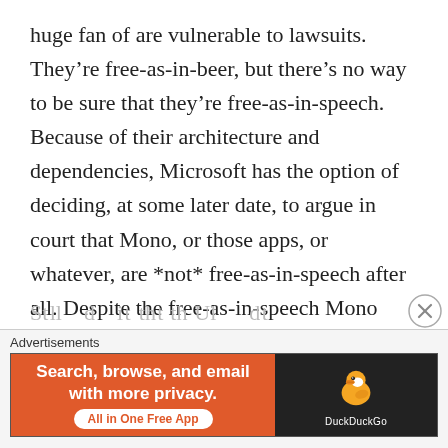huge fan of are vulnerable to lawsuits. They’re free-as-in-beer, but there’s no way to be sure that they’re free-as-in-speech. Because of their architecture and dependencies, Microsoft has the option of deciding, at some later date, to argue in court that Mono, or those apps, or whatever, are *not* free-as-in-speech after all. Despite the free-as-in-speech Mono license that supposedly protects them. In fact there may be deliberately concealed vulnerabilities. It wouldn’t be the first time.
St ll    d    i t th t th Ul     d t
[Figure (other): DuckDuckGo advertisement banner with orange left side reading 'Search, browse, and email with more privacy. All in One Free App' and dark right side with DuckDuckGo duck logo and brand name.]